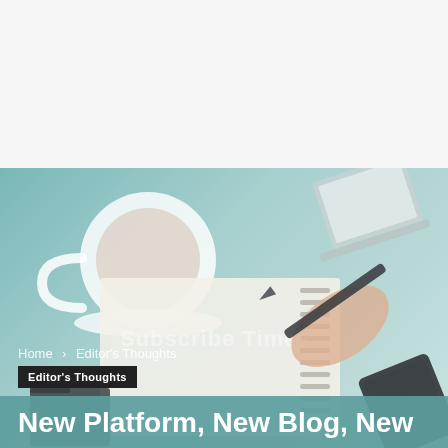Home › Editor's Thoughts
[Figure (illustration): Hero banner image with teal/mint gradient background showing a coffee cup, open notepad with lines, a hand holding a pen writing, a laptop screen, and a dark tablet. Text watermark 'Subscribe Times' visible on notepad area.]
Editor's Thoughts
New Platform, New Blog, New